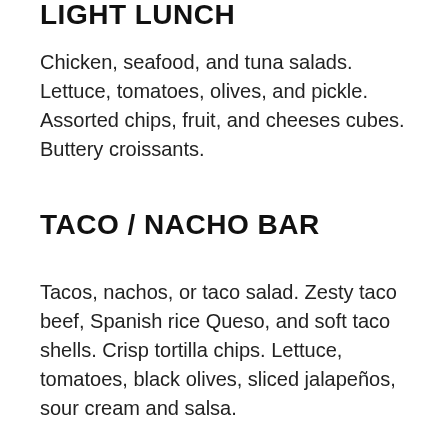LIGHT LUNCH
Chicken, seafood, and tuna salads. Lettuce, tomatoes, olives, and pickle. Assorted chips, fruit, and cheeses cubes. Buttery croissants.
TACO / NACHO BAR
Tacos, nachos, or taco salad. Zesty taco beef, Spanish rice Queso, and soft taco shells. Crisp tortilla chips. Lettuce, tomatoes, black olives, sliced jalapeños, sour cream and salsa.